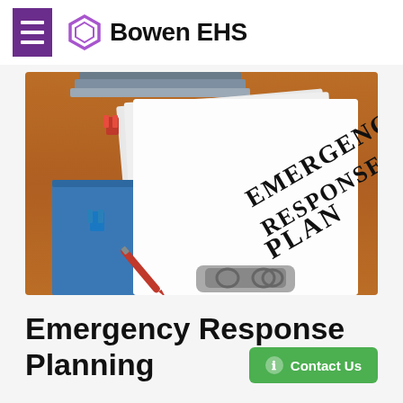Bowen EHS
[Figure (photo): Photo of a white binder/document labeled 'EMERGENCY RESPONSE PLAN' in bold black serif text, sitting on a wooden desk with binder clips, a red pen, a blue folder, and other office papers in the background.]
Emergency Response Planning
Contact Us